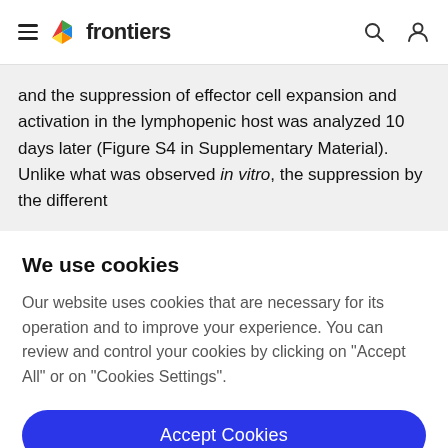frontiers
and the suppression of effector cell expansion and activation in the lymphopenic host was analyzed 10 days later (Figure S4 in Supplementary Material). Unlike what was observed in vitro, the suppression by the different
We use cookies
Our website uses cookies that are necessary for its operation and to improve your experience. You can review and control your cookies by clicking on "Accept All" or on "Cookies Settings".
Accept Cookies
Cookies Settings